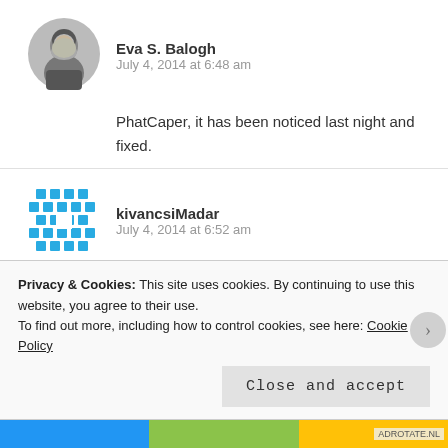[Figure (photo): Avatar photo of Eva S. Balogh]
Eva S. Balogh
July 4, 2014 at 6:48 am
PhatCaper, it has been noticed last night and fixed.
[Figure (illustration): Blue diamond pattern avatar for kivancsiMadar]
kivancsiMadar
July 4, 2014 at 6:52 am
The blog-world must wake up, and run a thorough investigation on the orban era now.
It is easier to do it in the present time than in the future under severe restrictions of the freedom.
Privacy & Cookies: This site uses cookies. By continuing to use this website, you agree to their use.
To find out more, including how to control cookies, see here: Cookie Policy
Close and accept